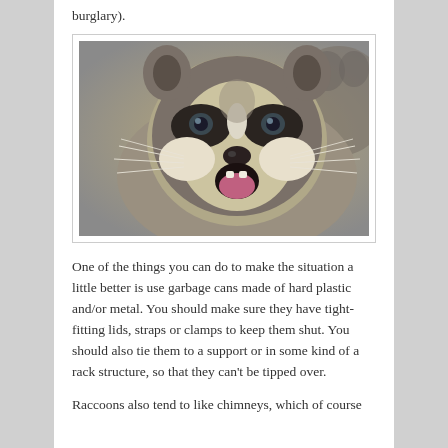burglary).
[Figure (photo): Close-up photo of a raccoon with its mouth open, looking directly at the camera. The raccoon has distinctive black mask markings around its eyes and white whiskers. Another raccoon is partially visible in the blurred background.]
One of the things you can do to make the situation a little better is use garbage cans made of hard plastic and/or metal. You should make sure they have tight-fitting lids, straps or clamps to keep them shut. You should also tie them to a support or in some kind of a rack structure, so that they can't be tipped over.
Raccoons also tend to like chimneys, which of course